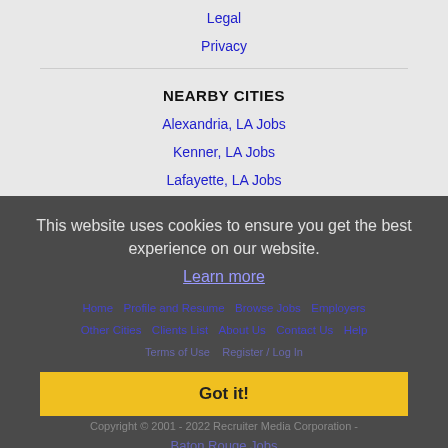Legal
Privacy
NEARBY CITIES
Alexandria, LA Jobs
Kenner, LA Jobs
Lafayette, LA Jobs
Metairie, LA Jobs
New Orleans, LA Jobs
This website uses cookies to ensure you get the best experience on our website.
Learn more
Got it!
Home | Profile and Resume | Browse Jobs | Employers | Other Cities | Clients List | About Us | Contact Us | Help
Terms of Use | Register / Log In
Copyright © 2001 - 2022 Recruiter Media Corporation -
Baton Rouge Jobs